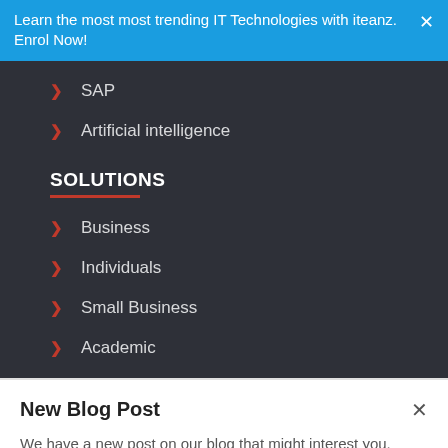Learn the most most trending IT Technologies with iteanz. Enrol Now!
SAP
Artificial intelligence
SOLUTIONS
Business
Individuals
Small Business
Academic
New Blog Post
We have a new post on our blog that might interest you.
Take me there